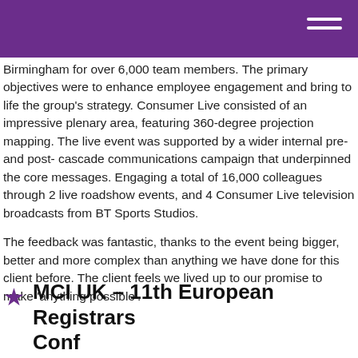[Purple header bar with hamburger menu]
Birmingham for over 6,000 team members. The primary objectives were to enhance employee engagement and bring to life the group's strategy. Consumer Live consisted of an impressive plenary area, featuring 360-degree projection mapping. The live event was supported by a wider internal pre- and post- cascade communications campaign that underpinned the core messages. Engaging a total of 16,000 colleagues through 2 live roadshow events, and 4 Consumer Live television broadcasts from BT Sports Studios.
The feedback was fantastic, thanks to the event being bigger, better and more complex than anything we have done for this client before. The client feels we lived up to our promise to make 'anything possible'.
MCI UK – 11th European Registrars Conference